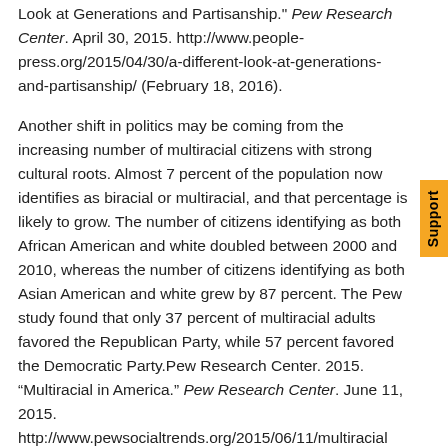Look at Generations and Partisanship." Pew Research Center. April 30, 2015. http://www.people-press.org/2015/04/30/a-different-look-at-generations-and-partisanship/ (February 18, 2016).
Another shift in politics may be coming from the increasing number of multiracial citizens with strong cultural roots. Almost 7 percent of the population now identifies as biracial or multiracial, and that percentage is likely to grow. The number of citizens identifying as both African American and white doubled between 2000 and 2010, whereas the number of citizens identifying as both Asian American and white grew by 87 percent. The Pew study found that only 37 percent of multiracial adults favored the Republican Party, while 57 percent favored the Democratic Party.Pew Research Center. 2015. “Multiracial in America.” Pew Research Center. June 11, 2015. http://www.pewsocialtrends.org/2015/06/11/multiracial